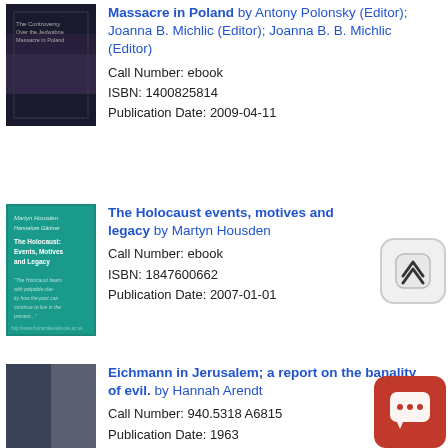[Figure (photo): Book cover: The Controversy over the Jedwabne Massacre in Poland, dark moody cover]
Massacre in Poland by Antony Polonsky (Editor); Joanna B. Michlic (Editor); Joanna B. B. Michlic (Editor)
Call Number: ebook
ISBN: 1400825814
Publication Date: 2009-04-11
[Figure (photo): Book cover: The Holocaust: Events, Motives and Legacy, teal/green cover]
The Holocaust events, motives and legacy by Martyn Housden
Call Number: ebook
ISBN: 1847600662
Publication Date: 2007-01-01
[Figure (photo): Book cover: Eichmann in Jerusalem; a report on the banality of evil, dark blue/grey cover]
Eichmann in Jerusalem; a report on the banality of evil. by Hannah Arendt
Call Number: 940.5318 A6815
Publication Date: 1963